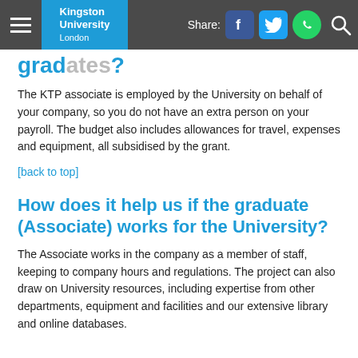Kingston University London | Share:
graduates?
The KTP associate is employed by the University on behalf of your company, so you do not have an extra person on your payroll. The budget also includes allowances for travel, expenses and equipment, all subsidised by the grant.
[back to top]
How does it help us if the graduate (Associate) works for the University?
The Associate works in the company as a member of staff, keeping to company hours and regulations. The project can also draw on University resources, including expertise from other departments, equipment and facilities and our extensive library and online databases.